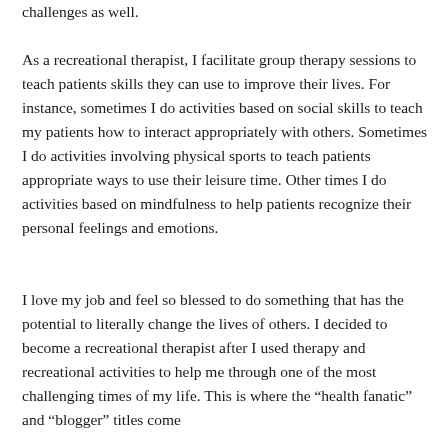challenges as well.
As a recreational therapist, I facilitate group therapy sessions to teach patients skills they can use to improve their lives. For instance, sometimes I do activities based on social skills to teach my patients how to interact appropriately with others. Sometimes I do activities involving physical sports to teach patients appropriate ways to use their leisure time. Other times I do activities based on mindfulness to help patients recognize their personal feelings and emotions.
I love my job and feel so blessed to do something that has the potential to literally change the lives of others. I decided to become a recreational therapist after I used therapy and recreational activities to help me through one of the most challenging times of my life. This is where the “health fanatic” and “blogger” titles come